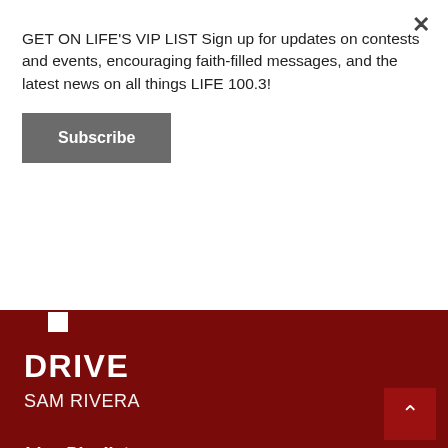GET ON LIFE'S VIP LIST Sign up for updates on contests and events, encouraging faith-filled messages, and the latest news on all things LIFE 100.3!
Subscribe
Playing Now
DRIVE
SAM RIVERA
Live Playlist
1. SAM RIVERA - DRIVE
2. CHRIS HOWLAND - WAY UP
3. REECE LACHE - DOWN TOO LONG
4. CHASITY - LOVE SO SWEET